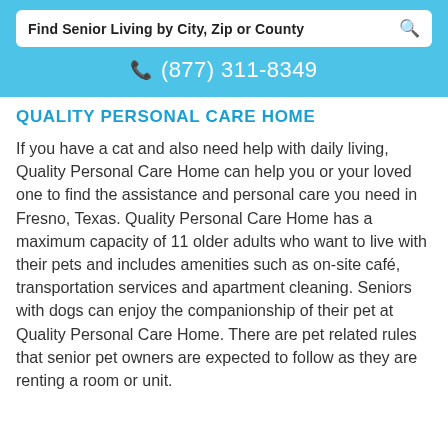Find Senior Living by City, Zip or County
(877) 311-8349
QUALITY PERSONAL CARE HOME
If you have a cat and also need help with daily living, Quality Personal Care Home can help you or your loved one to find the assistance and personal care you need in Fresno, Texas. Quality Personal Care Home has a maximum capacity of 11 older adults who want to live with their pets and includes amenities such as on-site café, transportation services and apartment cleaning. Seniors with dogs can enjoy the companionship of their pet at Quality Personal Care Home. There are pet related rules that senior pet owners are expected to follow as they are renting a room or unit.